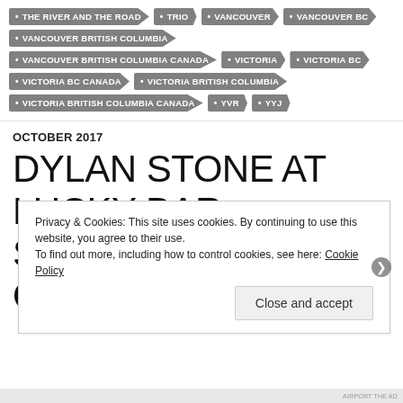THE RIVER AND THE ROAD
TRIO
VANCOUVER
VANCOUVER BC
VANCOUVER BRITISH COLUMBIA
VANCOUVER BRITISH COLUMBIA CANADA
VICTORIA
VICTORIA BC
VICTORIA BC CANADA
VICTORIA BRITISH COLUMBIA
VICTORIA BRITISH COLUMBIA CANADA
YVR
YYJ
OCTOBER 2017
DYLAN STONE AT LUCKY BAR – SATURDAY, OCTOBER
Privacy & Cookies: This site uses cookies. By continuing to use this website, you agree to their use. To find out more, including how to control cookies, see here: Cookie Policy
Close and accept